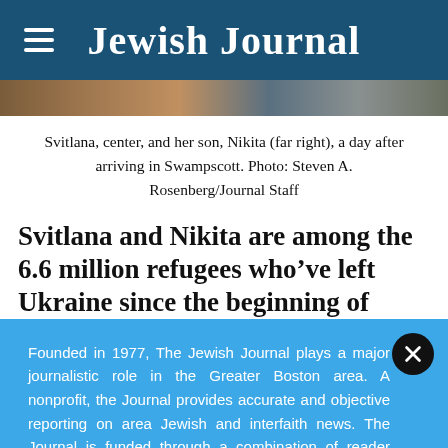Jewish Journal
[Figure (photo): Photo strip showing Svitlana, center, and her son, Nikita (far right)]
Svitlana, center, and her son, Nikita (far right), a day after arriving in Swampscott. Photo: Steven A. Rosenberg/Journal Staff
Svitlana and Nikita are among the 6.6 million refugees who’ve left Ukraine since the beginning of
Founded in 1977, The Jewish Journal plays a major journalistic role in the Greater Boston area. A nonprofit, the Journal provides accurate and objective reporting on area Jewish and interfaith news. The Journal is funded through a combination of reader donations, grants and advertisements. Tax-deductible donations can also be mailed to: The Jewish Journal P.O. Box 2089 Salem, MA. 01970
DONATE TODAY